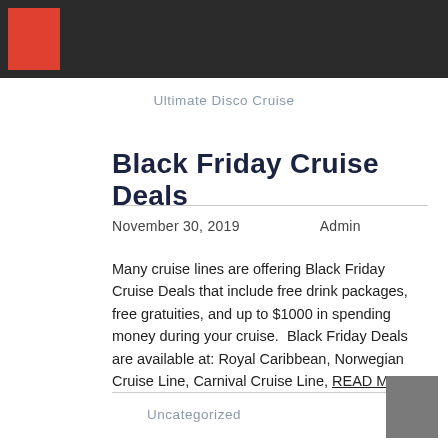Ultimate Disco Cruise
Black Friday Cruise Deals
November 30, 2019   Admin
Many cruise lines are offering Black Friday Cruise Deals that include free drink packages, free gratuities, and up to $1000 in spending money during your cruise.  Black Friday Deals are available at: Royal Caribbean, Norwegian Cruise Line, Carnival Cruise Line, READ MORE
Uncategorized